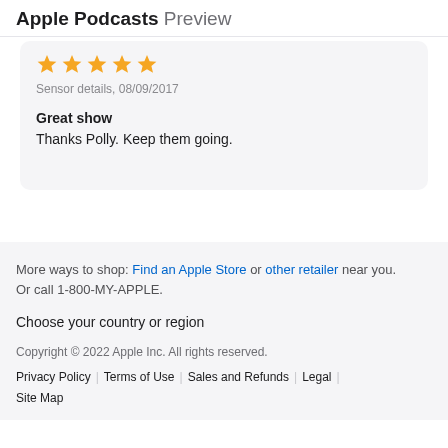Apple Podcasts Preview
[Figure (other): Five orange star rating icons]
Sensor details, 08/09/2017
Great show
Thanks Polly. Keep them going.
More ways to shop: Find an Apple Store or other retailer near you. Or call 1-800-MY-APPLE.
Choose your country or region
Copyright © 2022 Apple Inc. All rights reserved.
Privacy Policy | Terms of Use | Sales and Refunds | Legal | Site Map